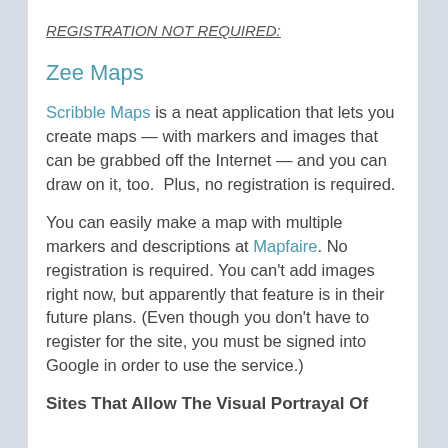REGISTRATION NOT REQUIRED:
Zee Maps
Scribble Maps is a neat application that lets you create maps — with markers and images that can be grabbed off the Internet — and you can draw on it, too.  Plus, no registration is required.
You can easily make a map with multiple markers and descriptions at Mapfaire. No registration is required. You can't add images right now, but apparently that feature is in their future plans. (Even though you don't have to register for the site, you must be signed into Google in order to use the service.)
Sites That Allow The Visual Portrayal Of